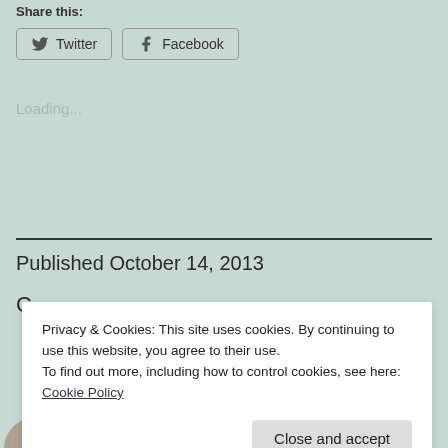Share this:
Twitter   Facebook
Loading...
Published October 14, 2013
C
Privacy & Cookies: This site uses cookies. By continuing to use this website, you agree to their use.
To find out more, including how to control cookies, see here: Cookie Policy
Close and accept
By Morton S. Gray